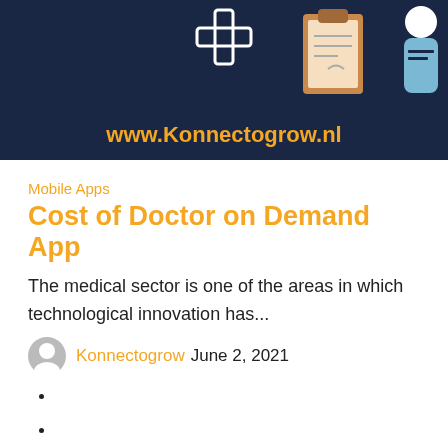[Figure (illustration): Dark navy banner with www.Konnectogrow.nl URL in orange/yellow bold text, a white medical cross icon at top center, a clipboard with document illustration on the right, and a doctor figure on far right]
Mobile Apps
Cost of Doctor on Demand App
The medical sector is one of the areas in which technological innovation has...
Konnectogrow June 2, 2021